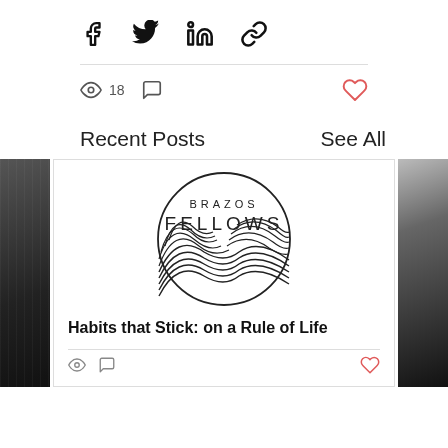[Figure (infographic): Share bar with Facebook, Twitter, LinkedIn, and link icons]
18 views, comment icon
[Figure (other): Heart/like icon in red/salmon color]
Recent Posts
See All
[Figure (logo): Brazos Fellows circular logo with landscape wave design]
Habits that Stick: on a Rule of Life